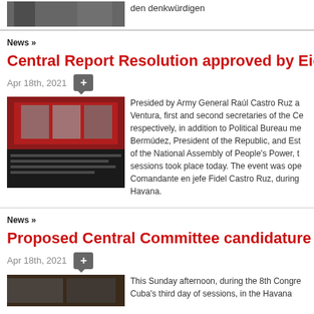[Figure (photo): Top partial image showing people standing, partially cropped]
den denkwürdigen
News »
Central Report Resolution approved by Eighth
Apr 18th, 2021
[Figure (photo): Congress hall scene with red backdrop showing portraits, audience seated at tables]
Presided by Army General Raúl Castro Ruz a... Ventura, first and second secretaries of the Ce... respectively, in addition to Political Bureau me... Bermúdez, President of the Republic, and Est... of the National Assembly of People's Power, t... sessions took place today. The event was ope... Comandante en jefe Fidel Castro Ruz, during... Havana.
News »
Proposed Central Committee candidature pres
Apr 18th, 2021
[Figure (photo): Partial image at bottom showing person with mask]
This Sunday afternoon, during the 8th Congre... Cuba's third day of sessions, in the Havana...